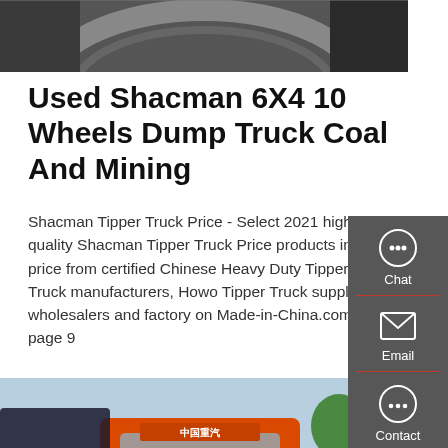[Figure (photo): Top partial photo showing a tire and dark mechanical/coal background]
Used Shacman 6X4 10 Wheels Dump Truck Coal And Mining
Shacman Tipper Truck Price - Select 2021 high quality Shacman Tipper Truck Price products in best price from certified Chinese Heavy Duty Tipper Truck manufacturers, Howo Tipper Truck suppliers, wholesalers and factory on Made-in-China.com, page 9
[Figure (infographic): Right sidebar with Chat, Email, and Contact icons on dark grey background]
[Figure (photo): Bottom photo showing an orange Shacman dump truck cab with Chinese text, trees in background]